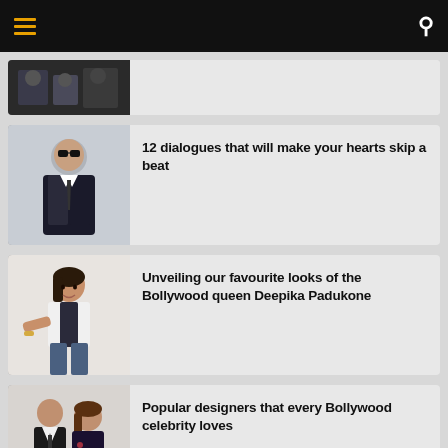☰  🔍
12 dialogues that will make your hearts skip a beat
Unveiling our favourite looks of the Bollywood queen Deepika Padukone
Popular designers that every Bollywood celebrity loves